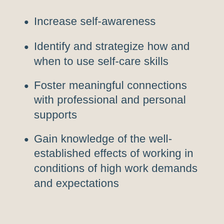Increase self-awareness
Identify and strategize how and when to use self-care skills
Foster meaningful connections with professional and personal supports
Gain knowledge of the well-established effects of working in conditions of high work demands and expectations